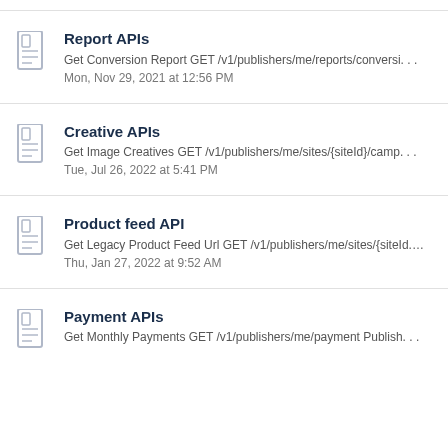Report APIs
Get Conversion Report GET /v1/publishers/me/reports/conversi. . .
Mon, Nov 29, 2021 at 12:56 PM
Creative APIs
Get Image Creatives GET /v1/publishers/me/sites/{siteId}/camp. . .
Tue, Jul 26, 2022 at 5:41 PM
Product feed API
Get Legacy Product Feed Url GET /v1/publishers/me/sites/{siteId. . .
Thu, Jan 27, 2022 at 9:52 AM
Payment APIs
Get Monthly Payments GET /v1/publishers/me/payment Publish. . .